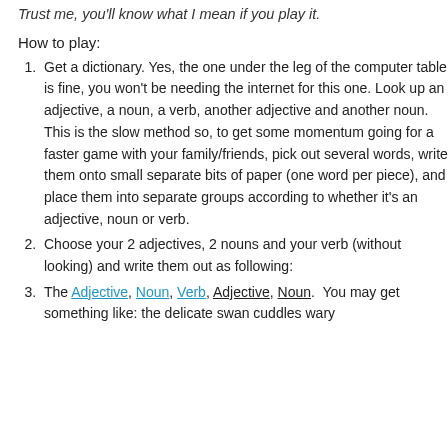Trust me, you'll know what I mean if you play it.
How to play:
Get a dictionary. Yes, the one under the leg of the computer table is fine, you won't be needing the internet for this one. Look up an adjective, a noun, a verb, another adjective and another noun. This is the slow method so, to get some momentum going for a faster game with your family/friends, pick out several words, write them onto small separate bits of paper (one word per piece), and place them into separate groups according to whether it's an adjective, noun or verb.
Choose your 2 adjectives, 2 nouns and your verb (without looking) and write them out as following:
The Adjective, Noun, Verb, Adjective, Noun.  You may get something like: the delicate swan cuddles wary